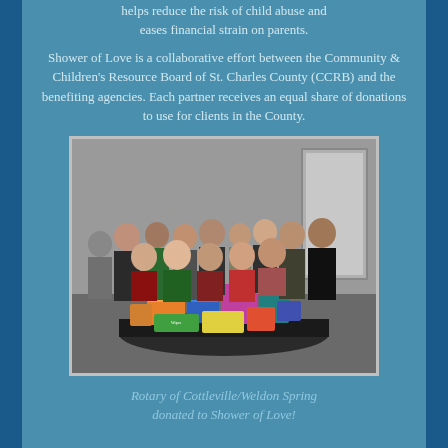helps reduce the risk of child abuse and eases financial strain on parents.
Shower of Love is a collaborative effort between the Community & Children's Resource Board of St. Charles County (CCRB) and the benefiting agencies. Each partner receives an equal share of donations to use for clients in the County.
[Figure (photo): Group photo of approximately 15-18 people standing behind a table filled with donated baby products including diapers, wipes, and boxed items. Indoor setting with grey walls.]
Rotary of Cottleville/Weldon Spring donated to Shower of Love!